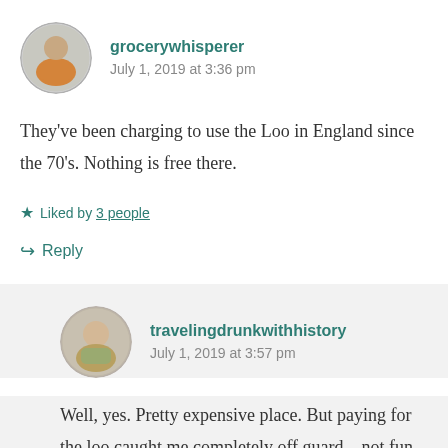grocerywhisperer
July 1, 2019 at 3:36 pm
They’ve been charging to use the Loo in England since the 70’s. Nothing is free there.
Liked by 3 people
Reply
travelingdrunkwithhistory
July 1, 2019 at 3:57 pm
Well, yes. Pretty expensive place. But paying for the loo caught me completely off guard – not fun